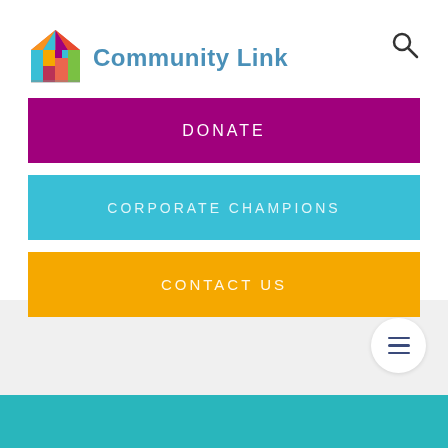[Figure (logo): Community Link logo — colorful mosaic house icon on left, 'Community Link' text in blue on right]
Community Link
DONATE
CORPORATE CHAMPIONS
CONTACT US